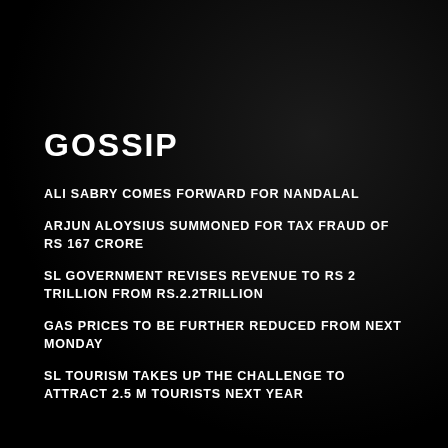GOSSIP
ALI SABRY COMES FORWARD FOR NANDALAL
ARJUN ALOYSIUS SUMMONED FOR TAX FRAUD OF RS 167 CRORE
SL GOVERNMENT REVISES REVENUE TO RS 2 TRILLION FROM RS.2.2TRILLION
GAS PRICES TO BE FURTHER REDUCED FROM NEXT MONDAY
SL TOURISM TAKES UP THE CHALLENGE TO ATTRACT 2.5 M TOURISTS NEXT YEAR